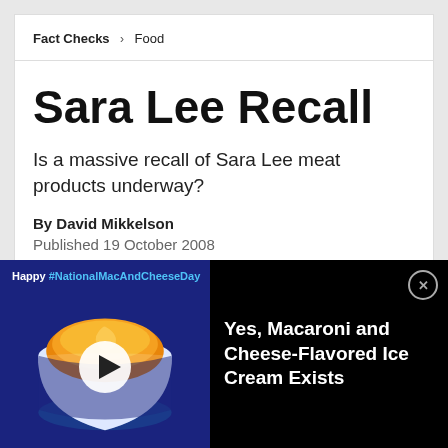Fact Checks › Food
Sara Lee Recall
Is a massive recall of Sara Lee meat products underway?
By David Mikkelson
Published 19 October 2008
[Figure (screenshot): Ad overlay showing mac and cheese cup with play button. Text: Happy #NationalMacAndCheeseDay | Yes, Macaroni and Cheese-Flavored Ice Cream Exists]